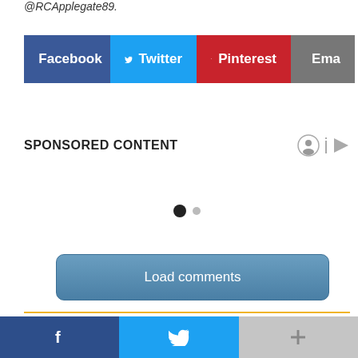@RCApplegate89.
[Figure (infographic): Social share buttons: Facebook (blue), Twitter (light blue), Pinterest (red), Email (gray)]
SPONSORED CONTENT
[Figure (infographic): Pagination dots: one filled black circle and one smaller gray circle]
[Figure (infographic): Load comments button, blue-gray gradient rounded rectangle]
BOOKMARK THE PERMALINK.
PREVIOUS   NEXT
[Figure (infographic): Bottom social bar with Facebook (dark blue), Twitter (blue), and plus/share (gray) buttons]